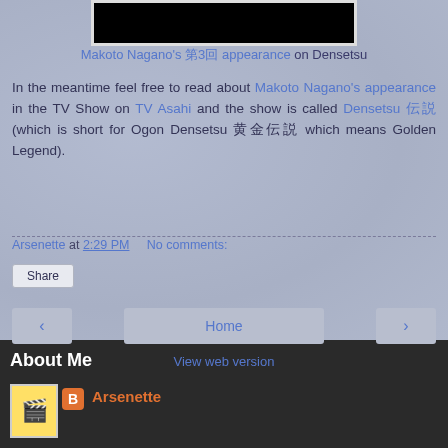[Figure (photo): Black image/video thumbnail at top of page]
Makoto Nagano's 第3回 appearance on Densetsu
In the meantime feel free to read about Makoto Nagano's appearance in the TV Show on TV Asahi and the show is called Densetsu 伝説 (which is short for Ogon Densetsu 黄金伝説 which means Golden Legend).
Arsenette at 2:29 PM    No comments:
Share
Home
View web version
About Me
Arsenette